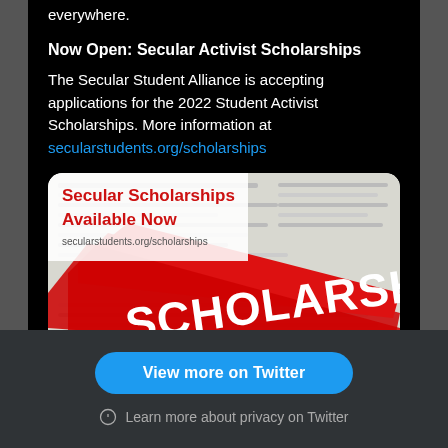everywhere.
Now Open: Secular Activist Scholarships
The Secular Student Alliance is accepting applications for the 2022 Student Activist Scholarships. More information at secularstudents.org/scholarships
[Figure (photo): Scholarship promotional image showing red paint brush stroke with white text 'SCHOLARSHIP' and smaller text 'Secular Scholarships Available Now' on upper left over a newspaper-like background]
♡   ♡ 2
View more on Twitter
ⓘ  Learn more about privacy on Twitter